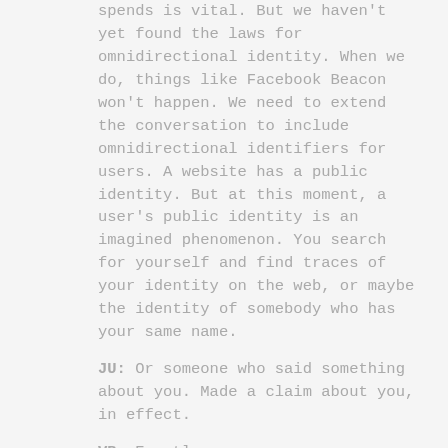spends is vital. But we haven't yet found the laws for omnidirectional identity. When we do, things like Facebook Beacon won't happen. We need to extend the conversation to include omnidirectional identifiers for users. A website has a public identity. But at this moment, a user's public identity is an imagined phenomenon. You search for yourself and find traces of your identity on the web, or maybe the identity of somebody who has your same name.
JU: Or someone who said something about you. Made a claim about you, in effect.
VB: Exactly.
I've long projected a public identity omnidirectionally, so I've had a long time to consider this issue. A decade ago, when I